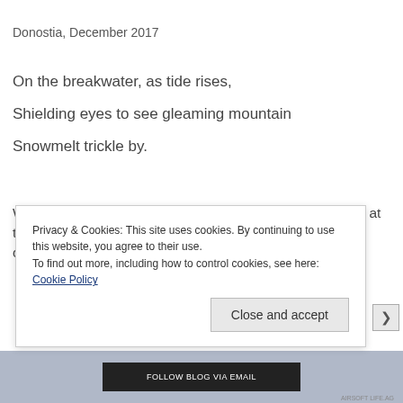Donostia, December 2017
On the breakwater, as tide rises,
Shielding eyes to see gleaming mountain
Snowmelt trickle by.
We shouldn't be able to see the mountain from the beach at this time cloud that normally shrouds the city
Privacy & Cookies: This site uses cookies. By continuing to use this website, you agree to their use. To find out more, including how to control cookies, see here: Cookie Policy
Close and accept